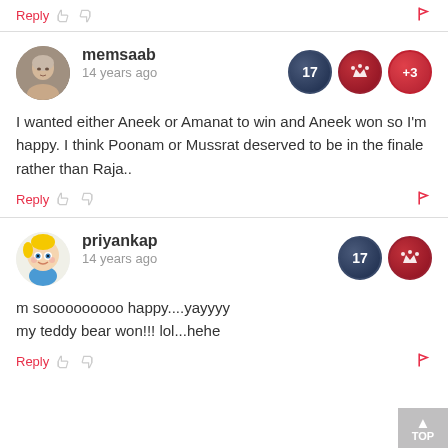Reply [thumbs up] [thumbs down] [flag]
memsaab
14 years ago
I wanted either Aneek or Amanat to win and Aneek won so I'm happy. I think Poonam or Mussrat deserved to be in the finale rather than Raja..
Reply [thumbs up] [thumbs down] [flag]
priyankap
14 years ago
m soooooooooo happy....yayyyy my teddy bear won!!! lol...hehe
Reply [thumbs up] [thumbs down] [flag]